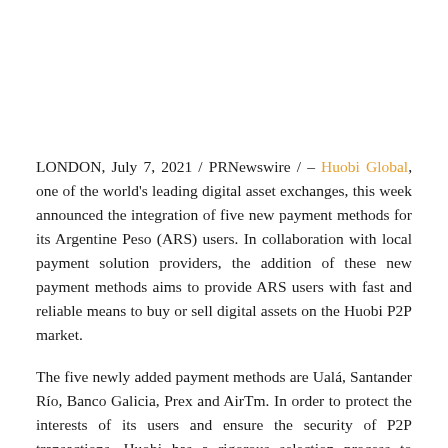LONDON, July 7, 2021 / PRNewswire / – Huobi Global, one of the world's leading digital asset exchanges, this week announced the integration of five new payment methods for its Argentine Peso (ARS) users. In collaboration with local payment solution providers, the addition of these new payment methods aims to provide ARS users with fast and reliable means to buy or sell digital assets on the Huobi P2P market.
The five newly added payment methods are Ualá, Santander Río, Banco Galicia, Prex and AirTm. In order to protect the interests of its users and ensure the security of P2P transactions, Huobi has a rigorous selection process to choose partner suppliers. These five payment solution providers were ultimately selected by Huobi because of their wealth of experience in the payments space and their extensive knowledge in the areas of risk and compliance.